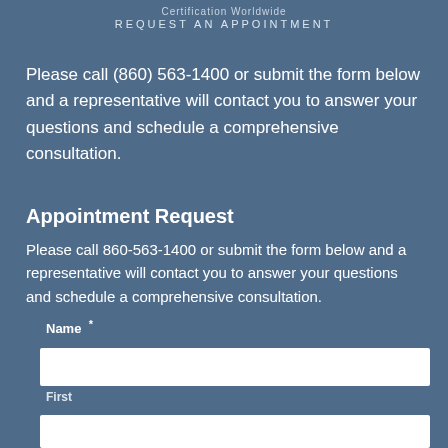Certification Worldwide
REQUEST AN APPOINTMENT
Please call (860) 563-1400 or submit the form below and a representative will contact you to answer your questions and schedule a comprehensive consultation.
Appointment Request
Please call 860-563-1400 or submit the form below and a representative will contact you to answer your questions and schedule a comprehensive consultation.
Name *
First